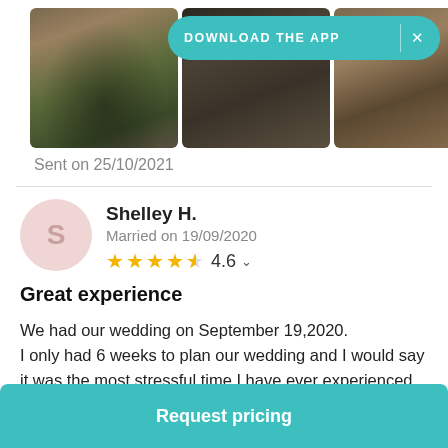[Figure (photo): Three wedding photo thumbnails showing couples at outdoor wedding ceremonies, with a teal 'DOWNLOAD THE APP' banner overlay with an X close button]
Sent on 25/10/2021
Shelley H.
Married on 19/09/2020
4.6
Great experience
We had our wedding on September 19,2020.
I only had 6 weeks to plan our wedding and I would say it was the most stressful time I have ever experienced.
Request pricing